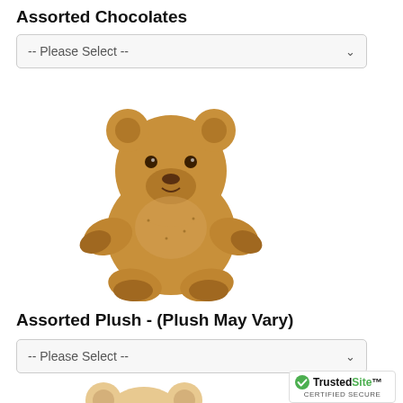Assorted Chocolates
-- Please Select --
[Figure (photo): A golden-brown plush teddy bear sitting upright, facing forward]
Assorted Plush - (Plush May Vary)
-- Please Select --
[Figure (photo): A light beige/cream plush teddy bear, partially visible at bottom of page]
[Figure (logo): TrustedSite Certified Secure badge with green checkmark]